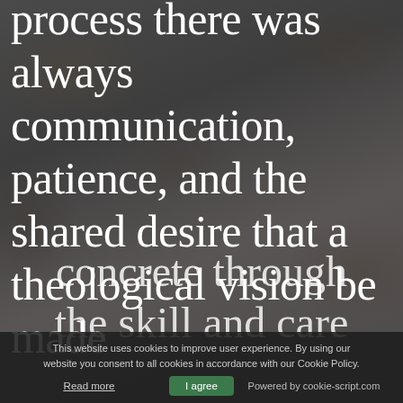[Figure (photo): Dark grey background photo of assorted small items/food in containers, used as page background]
process there was always communication, patience, and the shared desire that a theological vision be made
concrete through the skill and care
This website uses cookies to improve user experience. By using our website you consent to all cookies in accordance with our Cookie Policy.
Read more | I agree | Powered by cookie-script.com